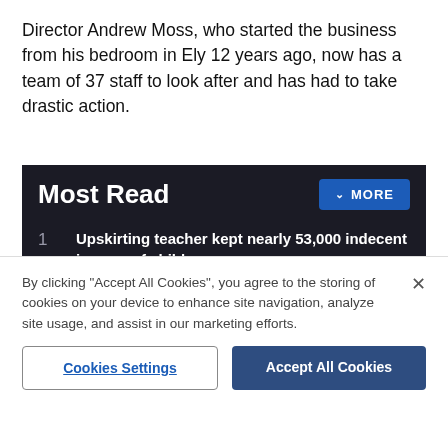Director Andrew Moss, who started the business from his bedroom in Ely 12 years ago, now has a team of 37 staff to look after and has had to take drastic action.
Most Read
1  Upskirting teacher kept nearly 53,000 indecent images of children
2  Drivers face £5 congestion charge in city, but bus fares could drop
By clicking "Accept All Cookies", you agree to the storing of cookies on your device to enhance site navigation, analyze site usage, and assist in our marketing efforts.